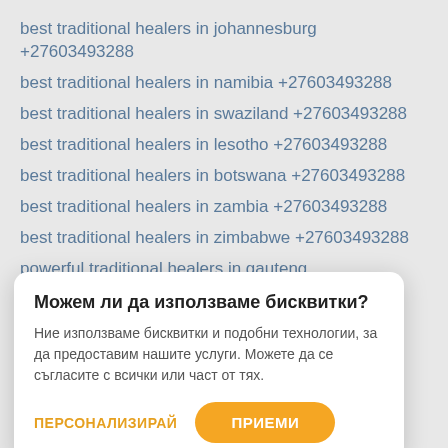best traditional healers in johannesburg +27603493288
best traditional healers in namibia +27603493288
best traditional healers in swaziland +27603493288
best traditional healers in lesotho +27603493288
best traditional healers in botswana +27603493288
best traditional healers in zambia +27603493288
best traditional healers in zimbabwe +27603493288
powerful traditional healers in gauteng +27603493288
Можем ли да използваме бисквитки?
Ние използваме бисквитки и подобни технологии, за да предоставим нашите услуги. Можете да се съгласите с всички или част от тях.
ПЕРСОНАЛИЗИРАЙ   ПРИЕМИ
powerful traditional healers in kwaZulu natal